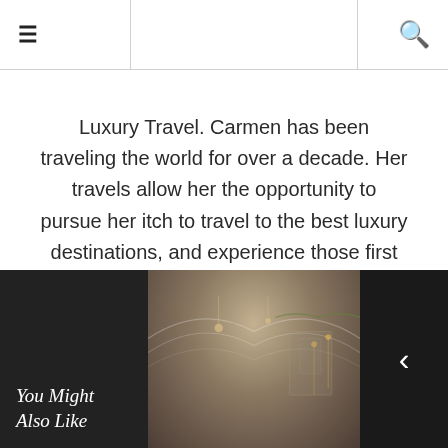≡  [search icon]
Luxury Travel. Carmen has been traveling the world for over a decade. Her travels allow her the opportunity to pursue her itch to travel to the best luxury destinations, and experience those first class tastes from around the world.
[Figure (infographic): Row of social media icons: Facebook, Twitter, Instagram, Pinterest, Google+, Heart/Bloglovin, YouTube, RSS]
[Figure (photo): Interior of a luxury hotel or event space with high white arched ceiling, chandeliers, holiday garland decorations, warm lighting, wooden shuttered walls]
You Might Also Like